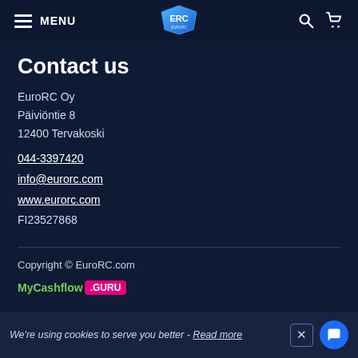MENU | EuroRC logo | Search | Cart
Contact us
EuroRC Oy
Päiviöntie 8
12400 Tervakoski
044-3397420
info@eurorc.com
www.eurorc.com
FI23527868
Copyright © EuroRC.com
MyCashflow .GURU
We're using cookies to serve you better - Read more